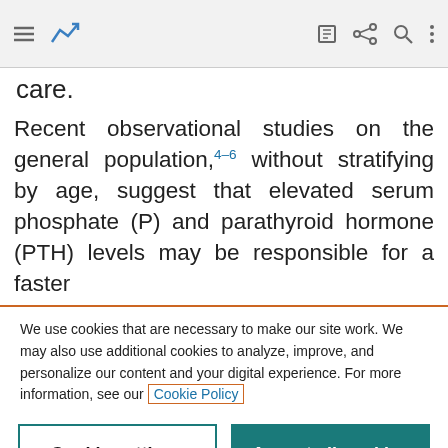[Navigation bar with menu, chart icon, edit, share, search, more icons]
care.
Recent observational studies on the general population,4–6 without stratifying by age, suggest that elevated serum phosphate (P) and parathyroid hormone (PTH) levels may be responsible for a faster
We use cookies that are necessary to make our site work. We may also use additional cookies to analyze, improve, and personalize our content and your digital experience. For more information, see our Cookie Policy
Cookie settings
Accept all cookies